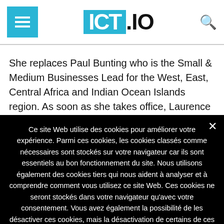ICT.IO
She replaces Paul Bunting who is the Small & Medium Businesses Lead for the West, East, Central Africa and Indian Ocean Islands region. As soon as she takes office, Laurence will move to the Microsoft offices in Mauritius
Ce site Web utilise des cookies pour améliorer votre expérience. Parmi ces cookies, les cookies classés comme nécessaires sont stockés sur votre navigateur car ils sont essentiels au bon fonctionnement du site. Nous utilisons également des cookies tiers qui nous aident à analyser et à comprendre comment vous utilisez ce site Web. Ces cookies ne seront stockés dans votre navigateur qu'avec votre consentement. Vous avez également la possibilité de les désactiver ces cookies, mais la désactivation de certains de ces cookies peut avoir un effet sur votre expérience de navigation. Lire la suite   Je refuse   J'accepte
Personnaliser les Cookies